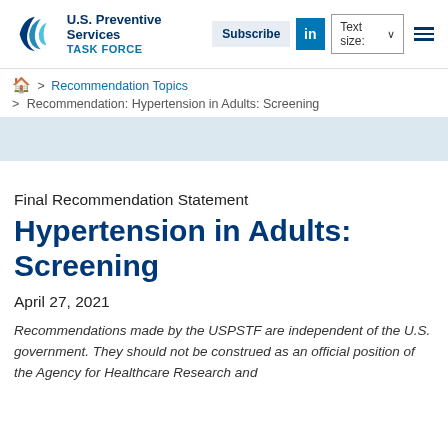[Figure (logo): U.S. Preventive Services Task Force logo with circular wave graphic and text]
Subscribe | LinkedIn | Text size: ∨ | Menu
🏠 > Recommendation Topics
> Recommendation: Hypertension in Adults: Screening
Final Recommendation Statement
Hypertension in Adults: Screening
April 27, 2021
Recommendations made by the USPSTF are independent of the U.S. government. They should not be construed as an official position of the Agency for Healthcare Research and